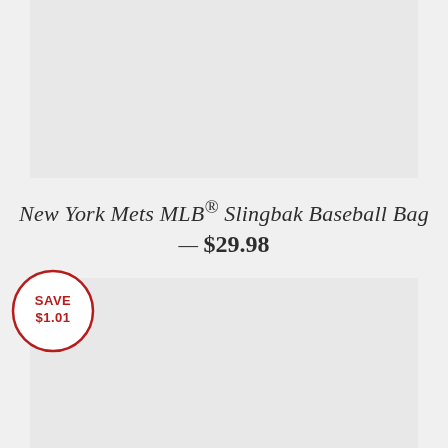[Figure (photo): Product image area (light gray placeholder) for New York Mets MLB Slingbak Baseball Bag]
New York Mets MLB® Slingbak Baseball Bag — $29.98
[Figure (other): Red circular badge reading SAVE $1.01]
[Figure (photo): Lower product image area (light gray placeholder)]